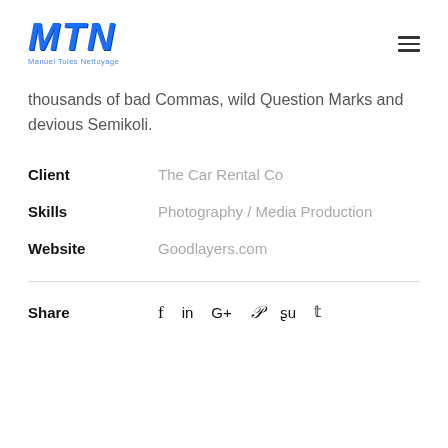MTN – Manuel Toles Nettoyage
thousands of bad Commas, wild Question Marks and devious Semikoli.
Client: The Car Rental Co
Skills: Photography / Media Production
Website: Goodlayers.com
Share